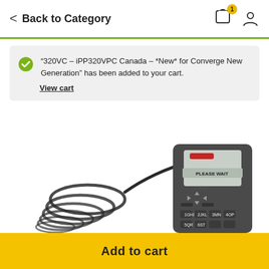< Back to Category
“320VC – iPP320VPC Canada – *New* for Converge New Generation” has been added to your cart. View cart
[Figure (photo): A Ingenico iPP320 pin pad payment terminal with coiled cable, displaying 'PLEASE WAIT' on its screen, photographed from above at an angle.]
Add to cart